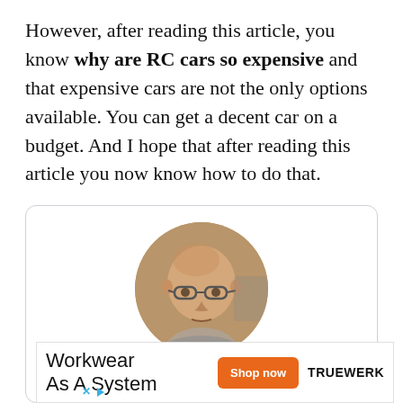However, after reading this article, you know why are RC cars so expensive and that expensive cars are not the only options available. You can get a decent car on a budget. And I hope that after reading this article you now know how to do that.
[Figure (photo): Circular profile photo of a bald man with glasses, in a card with rounded border]
[Figure (other): Advertisement for Workwear As A System by TRUEWERK with orange Shop now button]